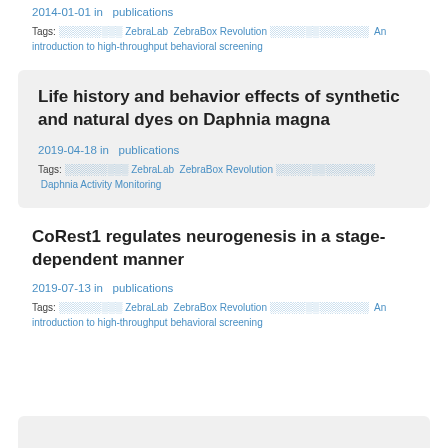2014-01-01 in  publications
Tags: ░░░░░░░░░ ZebraLab  ZebraBox Revolution ░░░░░░░░░░░░░░  An introduction to high-throughput behavioral screening
Life history and behavior effects of synthetic and natural dyes on Daphnia magna
2019-04-18 in  publications
Tags: ░░░░░░░░░ ZebraLab  ZebraBox Revolution ░░░░░░░░░░░░░░  Daphnia Activity Monitoring
CoRest1 regulates neurogenesis in a stage-dependent manner
2019-07-13 in  publications
Tags: ░░░░░░░░░ ZebraLab  ZebraBox Revolution ░░░░░░░░░░░░░░  An introduction to high-throughput behavioral screening